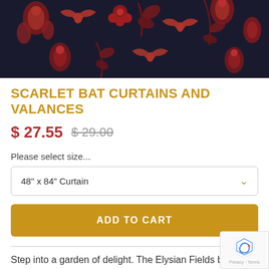[Figure (photo): Close-up of fabric with dark navy/black background featuring red floral and bat motifs in a botanical print pattern]
SCARLET BAT CURTAINS AND VALANCES
$ 27.55  $ 29.00 (strikethrough)
Please select size...
48" x 84" Curtain
ADD TO CART
Step into a garden of delight. The Elysian Fields bring bats and botanicals home for